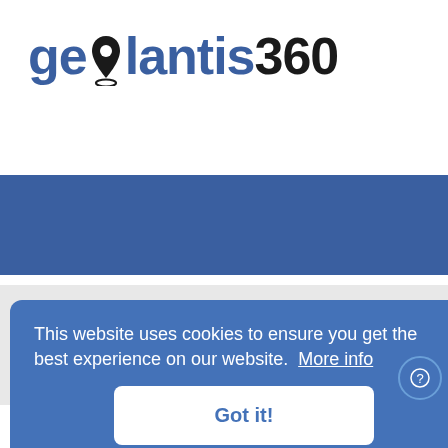[Figure (logo): Geolantis360 logo with location pin icon in text, in blue and black]
Home    Terms of Service    GDPR
Learning centre    Login
This website uses cookies to ensure you get the best experience on our website.  More info
Got it!